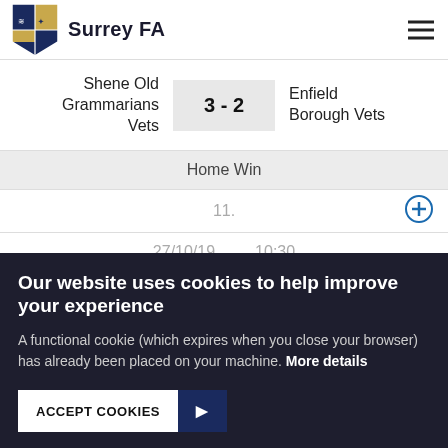Surrey FA
| Home Team | Score | Away Team |
| --- | --- | --- |
| Shene Old Grammarians Vets | 3 - 2 | Enfield Borough Vets |
Home Win
11.
27/10/19  10:30
Our website uses cookies to help improve your experience
A functional cookie (which expires when you close your browser) has already been placed on your machine. More details
ACCEPT COOKIES